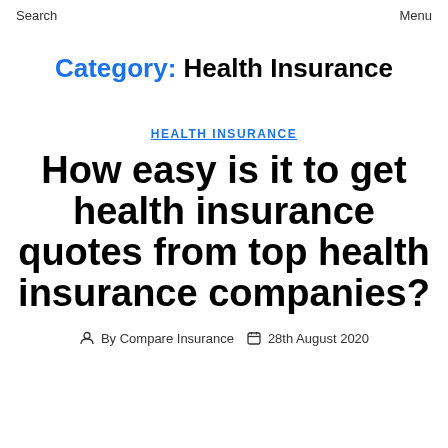Search   Menu
Category: Health Insurance
HEALTH INSURANCE
How easy is it to get health insurance quotes from top health insurance companies?
By Compare Insurance   28th August 2020